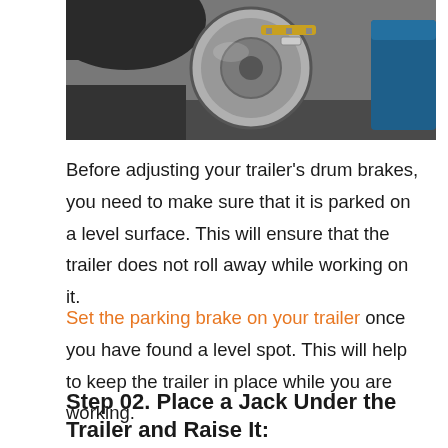[Figure (photo): Close-up photo of a trailer drum brake assembly showing the brake drum, springs, and hardware. A blue object is visible in the background to the right.]
Before adjusting your trailer's drum brakes, you need to make sure that it is parked on a level surface. This will ensure that the trailer does not roll away while working on it.
Set the parking brake on your trailer once you have found a level spot. This will help to keep the trailer in place while you are working.
Step 02. Place a Jack Under the Trailer and Raise It: